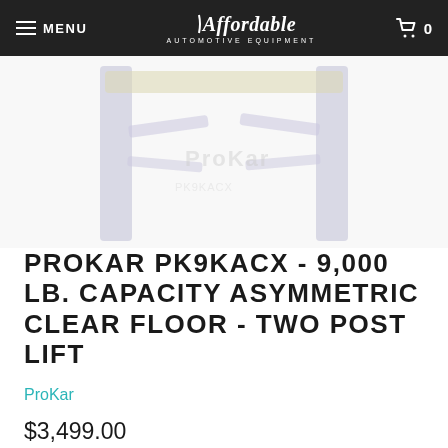MENU | Affordable Automotive Equipment | 0
[Figure (photo): Blurred product image of a two-post car lift with blue/purple posts and a yellow crossbar, shown against a white background]
PROKAR PK9KACX - 9,000 LB. CAPACITY ASYMMETRIC CLEAR FLOOR - TWO POST LIFT
ProKar
$3,499.00